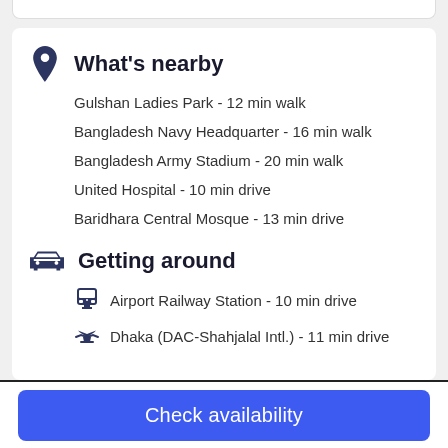What's nearby
Gulshan Ladies Park - 12 min walk
Bangladesh Navy Headquarter - 16 min walk
Bangladesh Army Stadium - 20 min walk
United Hospital - 10 min drive
Baridhara Central Mosque - 13 min drive
Getting around
Airport Railway Station - 10 min drive
Dhaka (DAC-Shahjalal Intl.) - 11 min drive
Check availability